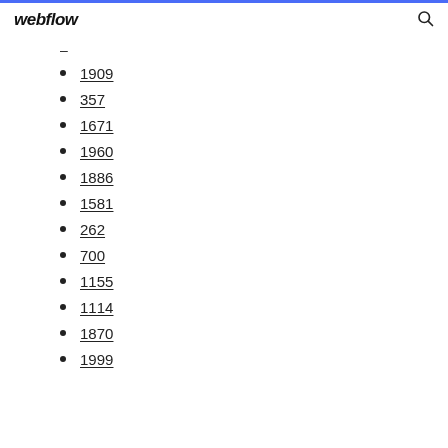webflow
–
1909
357
1671
1960
1886
1581
262
700
1155
1114
1870
1999